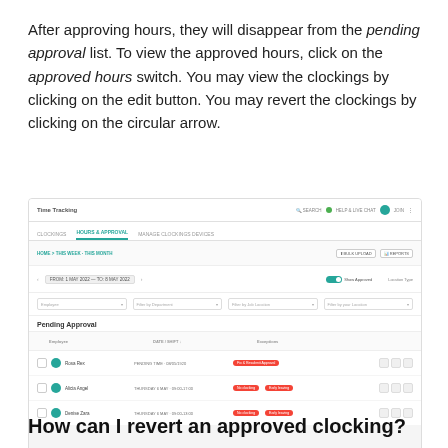After approving hours, they will disappear from the pending approval list. To view the approved hours, click on the approved hours switch. You may view the clockings by clicking on the edit button. You may revert the clockings by clicking on the circular arrow.
[Figure (screenshot): Screenshot of a Time Tracking application showing the Pending Approval tab with three rows of employees (Rosa Rex, Alicia Angel, Denise Zara) with date ranges and red exception badges, along with action icons.]
How can I revert an approved clocking?